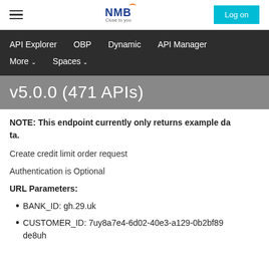NMB — Close to you | Log on
API Explorer   OBP   Dynamic   API Manager   More ∨   Spaces ∨
v5.0.0 (471 APIs)
NOTE: This endpoint currently only returns example data.
Create credit limit order request
Authentication is Optional
URL Parameters:
BANK_ID: gh.29.uk
CUSTOMER_ID: 7uy8a7e4-6d02-40e3-a129-0b2bf89de8uh